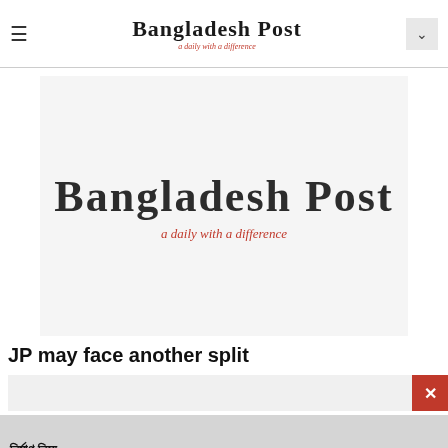Bangladesh Post — a daily with a difference
[Figure (logo): Bangladesh Post newspaper logo — large blackletter/Gothic font text 'Bangladesh Post' with italic red tagline 'a daily with a difference' on light gray background]
JP may face another split
[Figure (infographic): Advertisement banner: Bengali text for KSRM civil engineering free consultation, phone number 16741, KSRM logo with Bengali tagline]